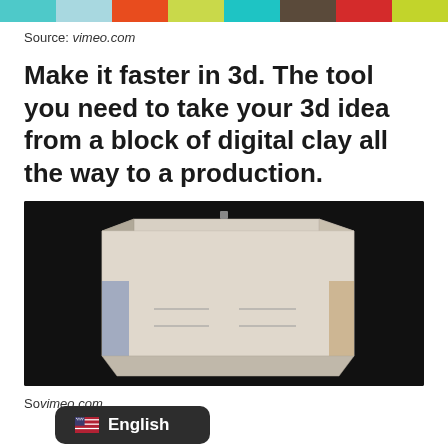[Figure (infographic): Colorful horizontal color bar strip with 8 color segments: teal/cyan, light blue, orange-red, yellow-green, cyan, dark brown/gray, red, yellow-green]
Source: vimeo.com
Make it faster in 3d. The tool you need to take your 3d idea from a block of digital clay all the way to a production.
[Figure (screenshot): Screenshot of a 3D modeling video on a black background showing a trapezoidal/box-shaped 3D object rendered in light gray/beige tones with drawer-like elements at the bottom]
Source: vimeo.com
[Figure (infographic): English language badge/button showing US flag emoji and the word English in white text on dark background]